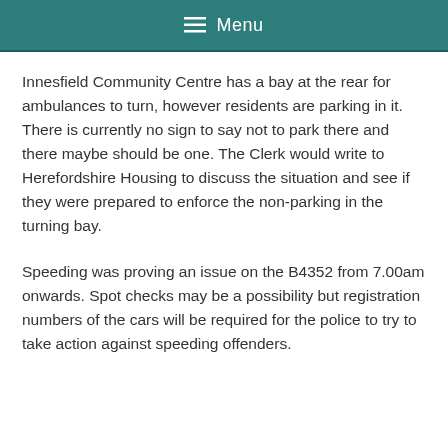Menu
Innesfield Community Centre has a bay at the rear for ambulances to turn, however residents are parking in it. There is currently no sign to say not to park there and there maybe should be one. The Clerk would write to Herefordshire Housing to discuss the situation and see if they were prepared to enforce the non-parking in the turning bay.
Speeding was proving an issue on the B4352 from 7.00am onwards. Spot checks may be a possibility but registration numbers of the cars will be required for the police to try to take action against speeding offenders.